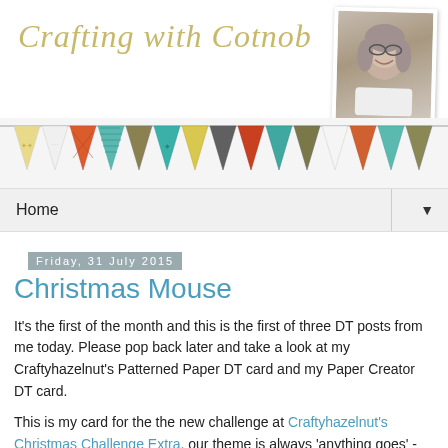Crafting with Cotnob
[Figure (photo): Portrait photo of a woman with gray hair and glasses, smiling, in a white polaroid-style frame]
[Figure (illustration): Decorative bunting/pennant banner with colorful patterned triangular flags in orange, teal, brown, white, yellow patterns on a light gray background]
Home ▼
Friday, 31 July 2015
Christmas Mouse
It's the first of the month and this is the first of three DT posts from me today. Please pop back later and take a look at my Craftyhazelnut's Patterned Paper DT card and my Paper Creator DT card.
This is my card for the the new challenge at Craftyhazelnut's Christmas Challenge Extra, our theme is always 'anything goes' - you can use any materials, any techniques etc., as long as they relate to a Christmas project.